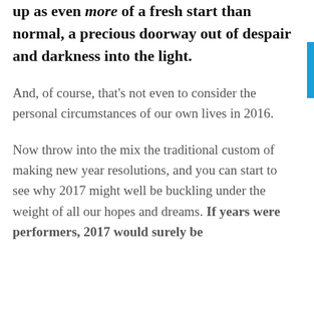up as even more of a fresh start than normal, a precious doorway out of despair and darkness into the light.
And, of course, that's not even to consider the personal circumstances of our own lives in 2016.
Now throw into the mix the traditional custom of making new year resolutions, and you can start to see why 2017 might well be buckling under the weight of all our hopes and dreams. If years were performers, 2017 would surely be